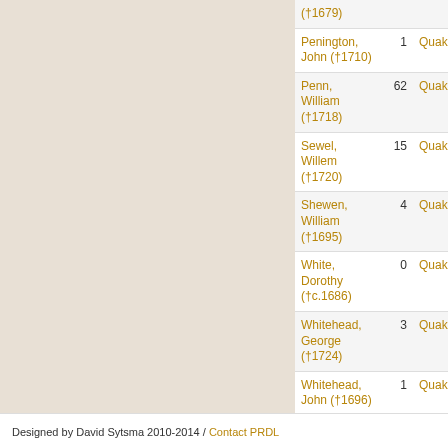| Name | Count | Denomination |
| --- | --- | --- |
| (†1679) |  |  |
| Penington, John (†1710) | 1 | Quak |
| Penn, William (†1718) | 62 | Quak |
| Sewel, Willem (†1720) | 15 | Quak |
| Shewen, William (†1695) | 4 | Quak |
| White, Dorothy (†c.1686) | 0 | Quak |
| Whitehead, George (†1724) | 3 | Quak |
| Whitehead, John (†1696) | 1 | Quak |
| Woolman, John (†1772) | 54 | Quak |
Designed by David Sytsma 2010-2014 / Contact PRDL